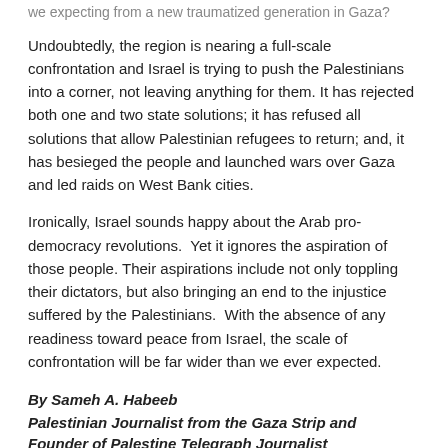we expecting from a new traumatized generation in Gaza?
Undoubtedly, the region is nearing a full-scale confrontation and Israel is trying to push the Palestinians into a corner, not leaving anything for them. It has rejected both one and two state solutions; it has refused all solutions that allow Palestinian refugees to return; and, it has besieged the people and launched wars over Gaza and led raids on West Bank cities.
Ironically, Israel sounds happy about the Arab pro-democracy revolutions.  Yet it ignores the aspiration of those people. Their aspirations include not only toppling their dictators, but also bringing an end to the injustice suffered by the Palestinians.  With the absence of any readiness toward peace from Israel, the scale of confrontation will be far wider than we ever expected.
By Sameh A. Habeeb
Palestinian Journalist from the Gaza Strip and Founder of Palestine Telegraph Journalist
(networkedblogs.com / 29.05.2011)
Category: Opinion others Tagged Opinion, Palestine Leave a comment/
Yemen rebel generals: Saleh